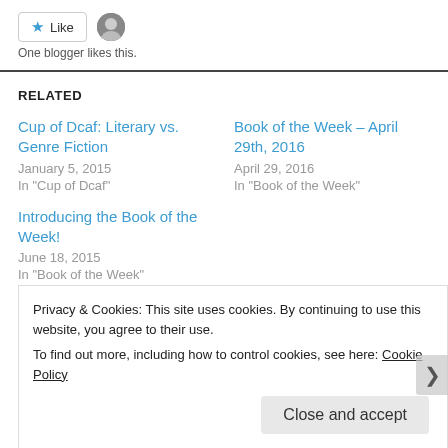Like  One blogger likes this.
RELATED
Cup of Dcaf: Literary vs. Genre Fiction
January 5, 2015
In "Cup of Dcaf"
Book of the Week – April 29th, 2016
April 29, 2016
In "Book of the Week"
Introducing the Book of the Week!
June 18, 2015
In "Book of the Week"
Privacy & Cookies: This site uses cookies. By continuing to use this website, you agree to their use.
To find out more, including how to control cookies, see here: Cookie Policy
Close and accept